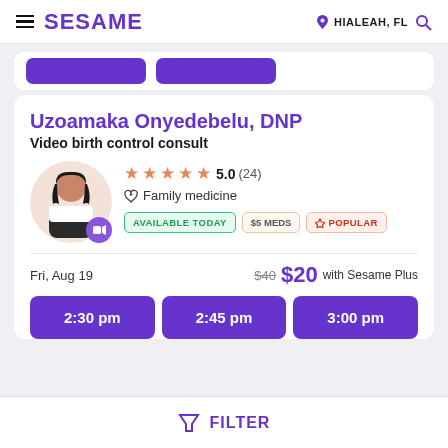SESAME — HIALEAH, FL
Uzoamaka Onyedebelu, DNP
Video birth control consult
5.0 (24) Family medicine — AVAILABLE TODAY — $5 MEDS — POPULAR
Fri, Aug 19 — $40 $20 with Sesame Plus
2:30 pm
2:45 pm
3:00 pm
FILTER